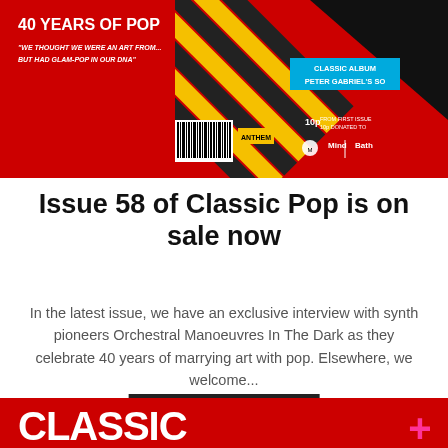[Figure (photo): Top portion of Classic Pop magazine Issue 58 cover. Red background with '40 YEARS OF POP' headline, diagonal yellow-black stripes, 'Classic Album: Peter Gabriel's So' cyan box, barcode, Anthem logo, Mind Bath charity notice, black triangle in top right corner.]
Issue 58 of Classic Pop is on sale now
In the latest issue, we have an exclusive interview with synth pioneers Orchestral Manoeuvres In The Dark as they celebrate 40 years of marrying art with pop. Elsewhere, we welcome...
[Figure (screenshot): Dark button/link reading 'VIEW POST' in uppercase white letters on dark grey/black background.]
[Figure (photo): Bottom portion of another Classic Pop magazine cover. Red background with 'CLASSIC' in large white letters and a pink plus sign on the right, with a partial image of a person.]